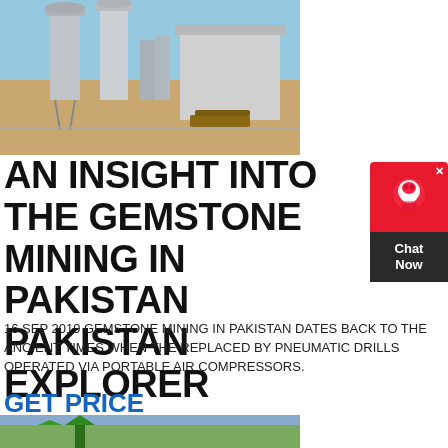[Figure (photo): Industrial facility with silos and equipment on sandy ground under blue sky]
AN INSIGHT INTO THE GEMSTONE MINING IN PAKISTAN PAKISTAN EXPLORER
[Figure (other): Chat Now widget with red top section with headset icon and dark bottom section with Chat Now text]
16 SEP 2019 GEMSTONE MINING IN PAKISTAN DATES BACK TO THE ANCIENT TIMES WHEN THE REPLACED BY PNEUMATIC DRILLS OPERATED VIA PORTABLE AIR COMPRESSORS.
GET PRICE
[Figure (photo): Partial view of green industrial structure against cloudy sky]